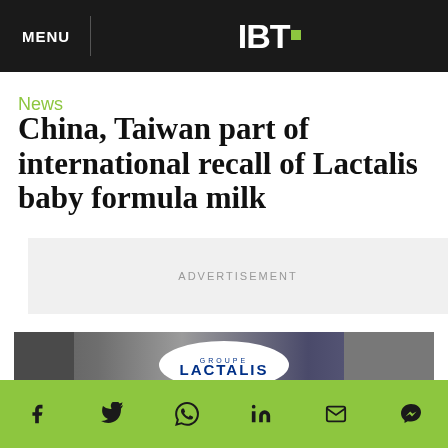MENU | IBT.
News
China, Taiwan part of international recall of Lactalis baby formula milk
ADVERTISEMENT
By Aastha Agnihotri On 12/11/17 At 11:08 AM
[Figure (photo): Lactalis groupe sign/logo at an event, with people visible on sides]